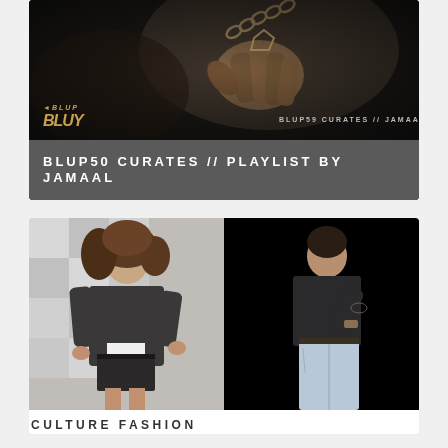[Figure (photo): Dark music promotional banner showing a hand holding a chain necklace with dramatic lighting, BLUP50 logo in bottom-left, 'BLUP59 CURATES // JAMAAL PURCELL-EDWARDS' text overlay in bottom-right]
BLUP50 CURATES // PLAYLIST BY JAMAAL
[Figure (photo): Fashion editorial showing two models side by side: left - woman with curly hair wearing oversized dark denim jacket and shorts; right - man in dark t-shirt and light-wash jeans looking over shoulder]
CULTURE FASHION